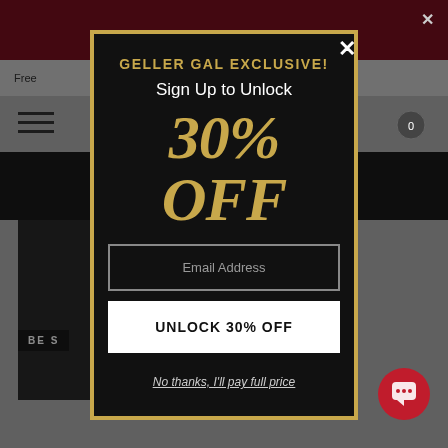GELLER GAL EXCLUSIVE!
Sign Up to Unlock
30% OFF
Email Address
UNLOCK 30% OFF
No thanks, I'll pay full price